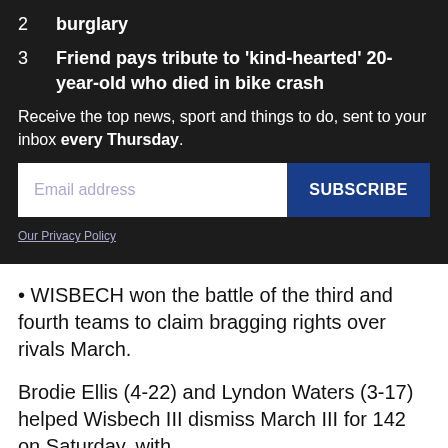2 burglary
3 Friend pays tribute to 'kind-hearted' 20-year-old who died in bike crash
Receive the top news, sport and things to do, sent to your inbox every Thursday.
Email address
SUBSCRIBE
Our Privacy Policy
• WISBECH won the battle of the third and fourth teams to claim bragging rights over rivals March.
Brodie Ellis (4-22) and Lyndon Waters (3-17) helped Wisbech III dismiss March III for 142 on Saturday, with